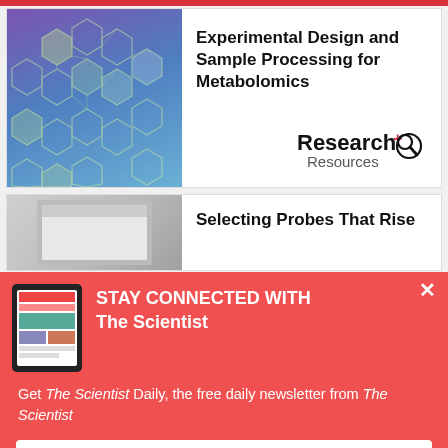[Figure (illustration): Abstract molecular/hexagonal pattern on blue-purple gradient background]
Experimental Design and Sample Processing for Metabolomics
[Figure (logo): Research+ Resources logo with magnifier icon]
[Figure (photo): Tablet/device image partially visible, grey background]
Selecting Probes That Rise
[Figure (illustration): Tablet showing The Scientist Daily newsletter app]
STAY CONNECTED WITH The Scientist
Get The Scientist Daily, the free daily newsletter from The Scientist
Sign up for our free newsletter